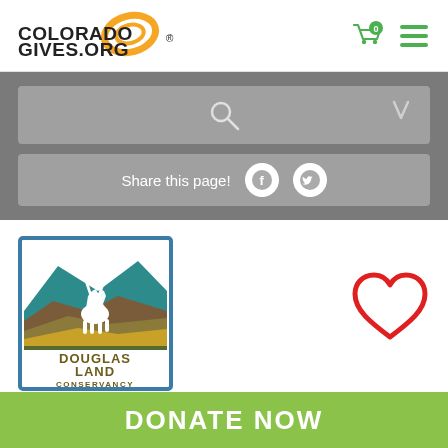[Figure (logo): ColoradoGives.org logo with orange oval ring and text]
[Figure (screenshot): Header navigation area with shopping cart icon showing 0 items and hamburger menu icon in green]
[Figure (screenshot): Gray search bar with magnifying glass icon and down arrow]
Share this page!
[Figure (screenshot): Share bar with Facebook and Twitter circular icons]
[Figure (logo): Douglas Land Conservancy logo showing elk silhouette over layered mountain landscape, with text DOUGLAS LAND CONSERVANCY]
[Figure (illustration): Red heart outline/favorite icon]
DONATE NOW